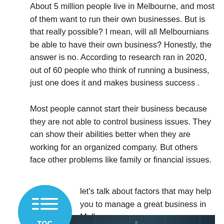About 5 million people live in Melbourne, and most of them want to run their own businesses. But is that really possible? I mean, will all Melbournians be able to have their own business? Honestly, the answer is no. According to research ran in 2020, out of 60 people who think of running a business, just one does it and makes business success .
Most people cannot start their business because they are not able to control business issues. They can show their abilities better when they are working for an organized company. But others face other problems like family or financial issues.
[Figure (other): Blue circular table-of-contents button with list icon and 'TOC' label]
let's talk about factors that may help you to manage a great business in Melbourne.
[Figure (photo): Dark blue-gray photo strip showing financial/stock market data on a screen]